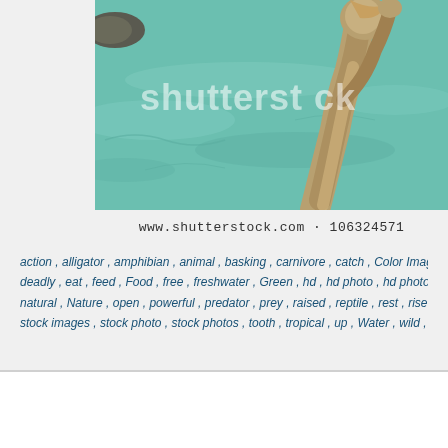[Figure (photo): Crocodile with open mouth raised out of water, turquoise/green water in background. Shutterstock watermark overlay.]
www.shutterstock.com · 106324571
action , alligator , amphibian , animal , basking , carnivore , catch , Color Image , Color Images , cro deadly , eat , feed , Food , free , freshwater , Green , hd , hd photo , hd photos , head , hide , hunt , jaw natural , Nature , open , powerful , predator , prey , raised , reptile , rest , rise , river , royalty , royalty stock images , stock photo , stock photos , tooth , tropical , up , Water , wild , wilderness , wildlife
Hairdressing Scissors